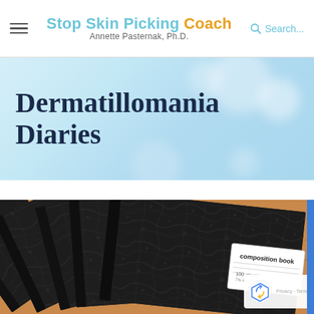Stop Skin Picking Coach — Annette Pasternak, Ph.D. | Search...
Dermatillomania Diaries
[Figure (photo): Stack of black marble composition books fanned out on a wooden table surface. The front book shows a white label reading 'composition book' with '100 sheets' printed below.]